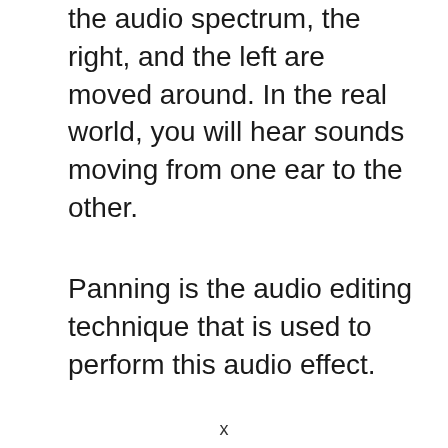the audio spectrum, the right, and the left are moved around. In the real world, you will hear sounds moving from one ear to the other.
Panning is the audio editing technique that is used to perform this audio effect.
x